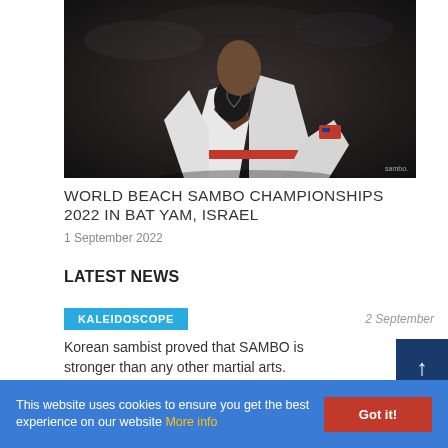[Figure (photo): A sambo athlete in a white gi with a red belt, chest exposed, leaning forward in an action pose during competition. Dark arena background. Watermark 'sambo.' visible bottom right.]
WORLD BEACH SAMBO CHAMPIONSHIPS 2022 IN BAT YAM, ISRAEL
1 September 2022
LATEST NEWS
KALEIDOSCOPE
2 September
Korean sambist proved that SAMBO is stronger than any other martial arts.